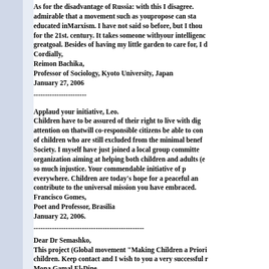As for the disadvantage of Russia: with this I disagree. admirable that a movement such as youpropose can sta... educated inMarxism. I have not said so before, but I thou... for the 21st. century. It takes someone withyour intelligenc... greatgoal. Besides of having my little garden to care for, I d... Cordially,
Reimon Bachika,
Professor of Sociology, Kyoto University, Japan
January 27, 2006
----------------------
Applaud your initiative, Leo.
Children have to be assured of their right to live with dig... attention on thatwill co-responsible citizens be able to con... of children who are still excluded from the minimal benef... Society. I myself have just joined a local group committe... organization aiming at helping both children and adults (e... so much injustice. Your commendable initiative of p... everywhere. Children are today's hope for a peaceful an... contribute to the universal mission you have embraced.
Francisco Gomes,
Poet and Professor, Brasilia
January 22, 2006.
-----------------------------------------------
Dear Dr Semashko,
This project (Global movement "Making Children a Priori... children. Keep contact and I wish to you a very successful r...
Mona Gamal El-Dine,